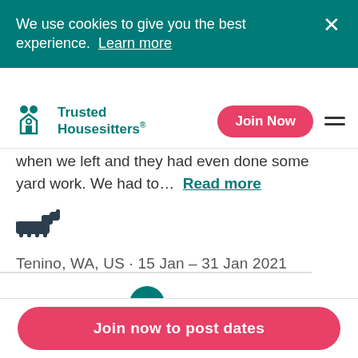We use cookies to give you the best experience. Learn more
[Figure (logo): Trusted Housesitters logo with icon]
when we left and they had even done some yard work. We had to... Read more
[Figure (illustration): Small dog silhouette icon]
Tenino, WA, US · 15 Jan – 31 Jan 2021
1 >
Join now to post dates